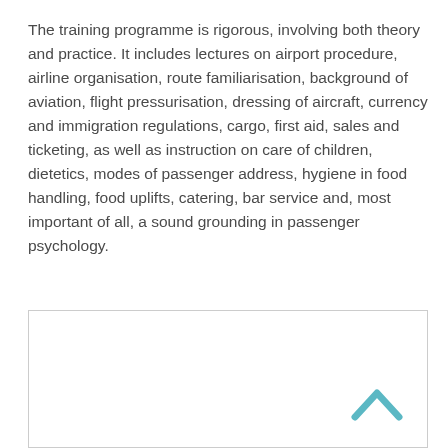The training programme is rigorous, involving both theory and practice. It includes lectures on airport procedure, airline organisation, route familiarisation, background of aviation, flight pressurisation, dressing of aircraft, currency and immigration regulations, cargo, first aid, sales and ticketing, as well as instruction on care of children, dietetics, modes of passenger address, hygiene in food handling, food uplifts, catering, bar service and, most important of all, a sound grounding in passenger psychology.
[Figure (other): A bordered white box area with a teal/cyan upward-pointing chevron arrow in the bottom-right corner, indicating a scroll-to-top or navigation button.]